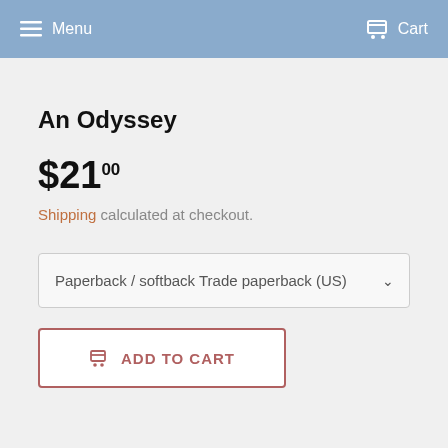Menu  Cart
An Odyssey
$21.00
Shipping calculated at checkout.
Paperback / softback Trade paperback (US)
ADD TO CART